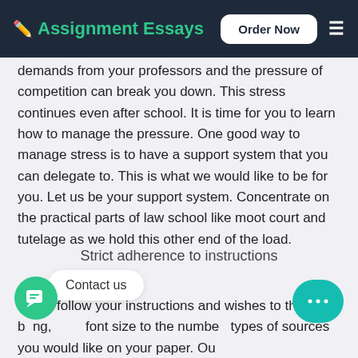Assignment Essays | Order Now
demands from your professors and the pressure of competition can break you down. This stress continues even after school. It is time for you to learn how to manage the pressure. One good way to manage stress is to have a support system that you can delegate to. This is what we would like to be for you. Let us be your support system. Concentrate on the practical parts of law school like moot court and tutelage as we hold this other end of the load.
Strict adherence to instructions
We follow your instructions and wishes to the b...ng, font size to the number of types of sources you would like on your paper. Our duty as your law assignment help service is to execute your